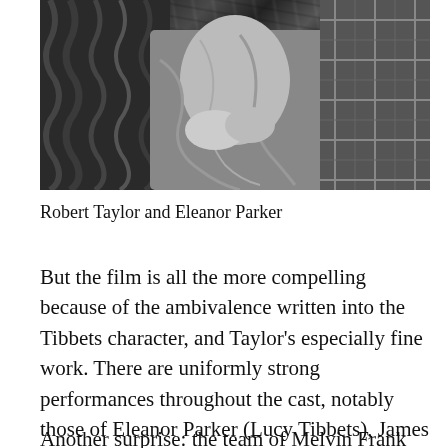[Figure (photo): Black and white photograph of Robert Taylor and Eleanor Parker in close proximity, appearing to be in an intimate scene from a film.]
Robert Taylor and Eleanor Parker
But the film is all the more compelling because of the ambivalence written into the Tibbets character, and Taylor's especially fine work. There are uniformly strong performances throughout the cast, notably those of Eleanor Parker (Lucy Tibbets), James Whitmore (the security officer) and Larry Keating (General Brent).
Another surprise: the team of Melvin Frank and Norman